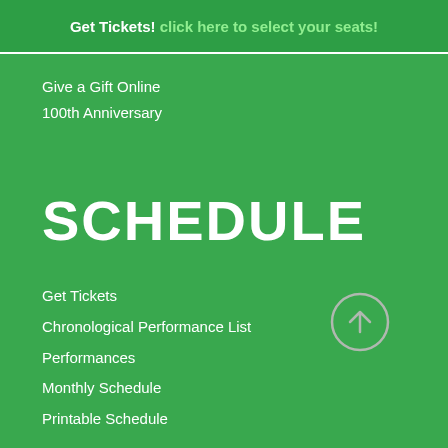Get Tickets! click here to select your seats!
Give a Gift Online
100th Anniversary
SCHEDULE
Get Tickets
Chronological Performance List
Performances
Monthly Schedule
Printable Schedule